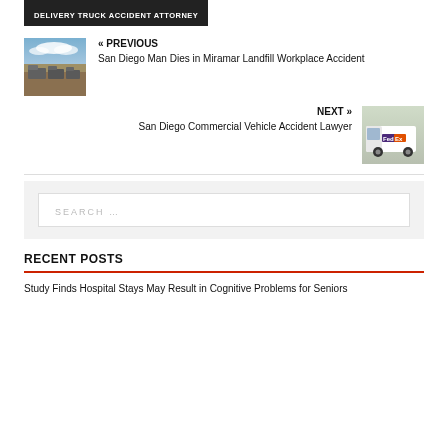DELIVERY TRUCK ACCIDENT ATTORNEY
« PREVIOUS
San Diego Man Dies in Miramar Landfill Workplace Accident
[Figure (photo): Photo of trucks at a landfill site with clouds in background]
NEXT »
San Diego Commercial Vehicle Accident Lawyer
[Figure (photo): Photo of a white FedEx delivery van]
SEARCH ...
RECENT POSTS
Study Finds Hospital Stays May Result in Cognitive Problems for Seniors